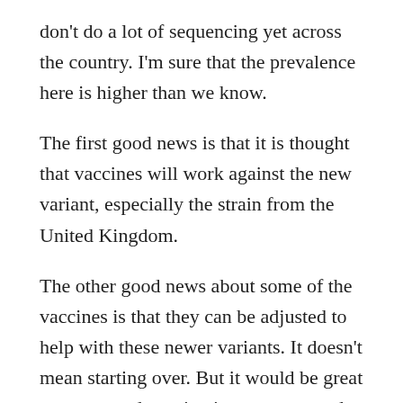don't do a lot of sequencing yet across the country. I'm sure that the prevalence here is higher than we know.
The first good news is that it is thought that vaccines will work against the new variant, especially the strain from the United Kingdom.
The other good news about some of the vaccines is that they can be adjusted to help with these newer variants. It doesn't mean starting over. But it would be great to get a good vaccination program and a lot of immunity out there before a new strain enters into the system.
How would you grade how the vaccine rollout is